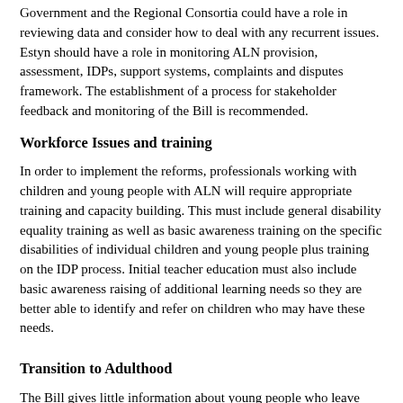Government and the Regional Consortia could have a role in reviewing data and consider how to deal with any recurrent issues. Estyn should have a role in monitoring ALN provision, assessment, IDPs, support systems, complaints and disputes framework. The establishment of a process for stakeholder feedback and monitoring of the Bill is recommended.
Workforce Issues and training
In order to implement the reforms, professionals working with children and young people with ALN will require appropriate training and capacity building. This must include general disability equality training as well as basic awareness training on the specific disabilities of individual children and young people plus training on the IDP process. Initial teacher education must also include basic awareness raising of additional learning needs so they are better able to identify and refer on children who may have these needs.
Transition to Adulthood
The Bill gives little information about young people who leave school, do not go onto further education but do require support from social services, health and other agencies. Previously many young people in this position were supported through the Welsh Government funded Transition Key Worker programme which ran